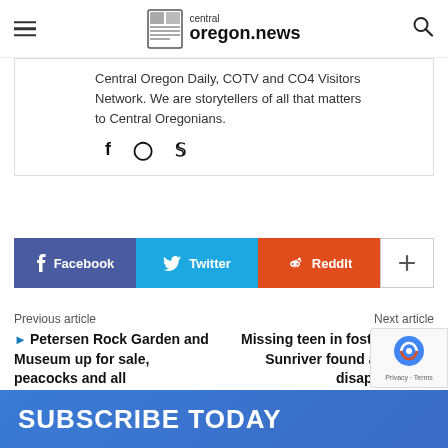central oregon.news
Central Oregon Daily, COTV and CO4 Visitors Network. We are storytellers of all that matters to Central Oregonians.
[Figure (infographic): Social media share buttons: Facebook, Twitter, ReddIt, and more (+)]
Previous article
▶ Petersen Rock Garden and Museum up for sale, peacocks and all
Next article
Missing teen in foster care in Sunriver found after third disappearance
SUBSCRIBE TODAY